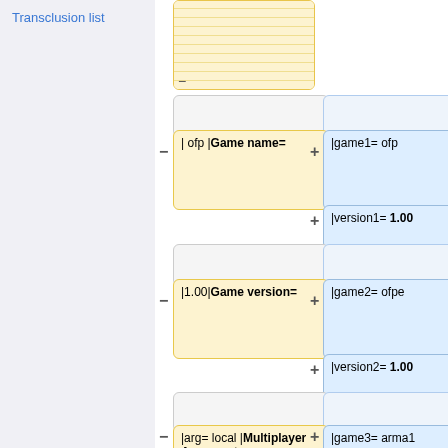Transclusion list
[Figure (screenshot): Diff view showing template parameter changes: removed parameters on left (yellow boxes), added parameters on right (blue boxes). Rows include: top striped yellow box (truncated), empty boxes, '| ofp |Game name=' vs '|game1= ofp' and '|version1= 1.00', empty boxes, '|1.00|Game version=' vs '|game2= ofpe' and '|version2= 1.00', empty boxes, '|arg= local |Multiplayer Arguments=' vs '|game3= arma1', and partial row showing '|version3= 1.00']